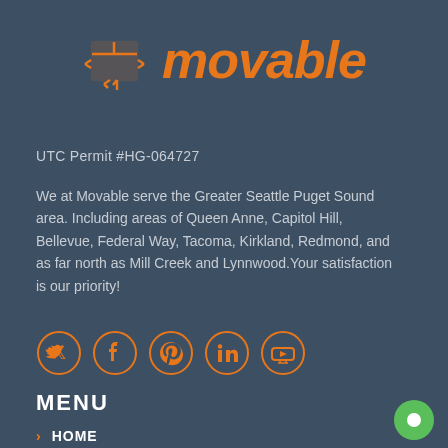[Figure (logo): Movable company logo with orange moving box icon and orange italic bold text 'movable']
UTC Permit #HG-064727
We at Movable serve the Greater Seattle Puget Sound area. Including areas of Queen Anne, Capitol Hill, Bellevue, Federal Way, Tacoma, Kirkland, Redmond, and as far north as Mill Creek and Lynnwood.Your satisfaction is our priority!
[Figure (illustration): Five orange social media icons in circular outlines: Twitter, Facebook, Pinterest, LinkedIn, YouTube]
MENU
HOME
ABOUT US